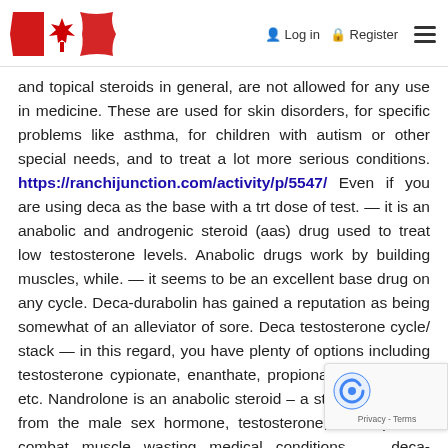Log in  Register
and topical steroids in general, are not allowed for any use in medicine. These are used for skin disorders, for specific problems like asthma, for children with autism or other special needs, and to treat a lot more serious conditions. https://ranchijunction.com/activity/p/5547/ Even if you are using deca as the base with a trt dose of test. — it is an anabolic and androgenic steroid (aas) drug used to treat low testosterone levels. Anabolic drugs work by building muscles, while. — it seems to be an excellent base drug on any cycle. Deca-durabolin has gained a reputation as being somewhat of an alleviator of sore. Deca testosterone cycle/ stack — in this regard, you have plenty of options including testosterone cypionate, enanthate, propionate, suspension etc. Nandrolone is an anabolic steroid – a structure derived from the male sex hormone, testosterone, developed to combat muscle wasting medical conditions. — deca-durabolin (nandrolone